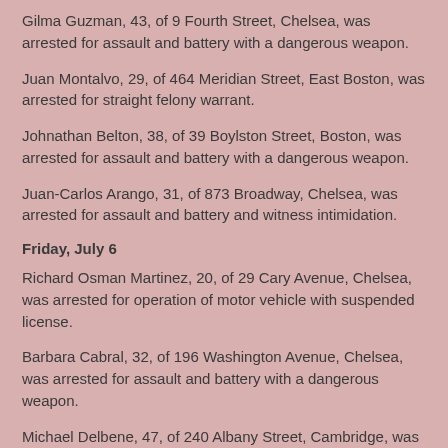Gilma Guzman, 43, of 9 Fourth Street, Chelsea, was arrested for assault and battery with a dangerous weapon.
Juan Montalvo, 29, of 464 Meridian Street, East Boston, was arrested for straight felony warrant.
Johnathan Belton, 38, of 39 Boylston Street, Boston, was arrested for assault and battery with a dangerous weapon.
Juan-Carlos Arango, 31, of 873 Broadway, Chelsea, was arrested for assault and battery and witness intimidation.
Friday, July 6
Richard Osman Martinez, 20, of 29 Cary Avenue, Chelsea, was arrested for operation of motor vehicle with suspended license.
Barbara Cabral, 32, of 196 Washington Avenue, Chelsea, was arrested for assault and battery with a dangerous weapon.
Michael Delbene, 47, of 240 Albany Street, Cambridge, was arrested for shoplifting.